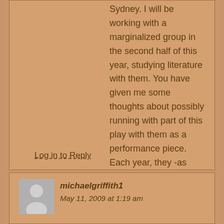Sydney. I will be working with a marginalized group in the second half of this year, studying literature with them. You have given me some thoughts about possibly running with part of this play with them as a performance piece. Each year, they -as part of my literature course-give a public performance of a short play, or play extract that we have been working on…. I will keep you posted on what I decide. Best wishes Michael
Log in to Reply
[Figure (illustration): Grey avatar placeholder icon showing a silhouette of a person]
michaelgriffith1
May 11, 2009 at 1:19 am